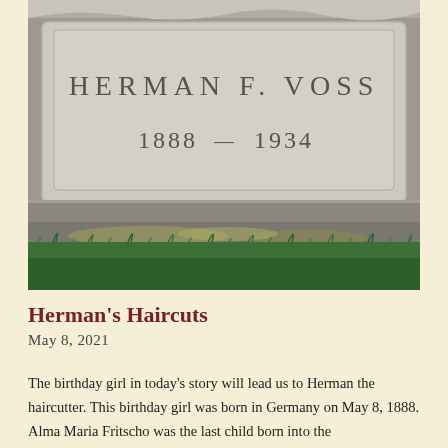[Figure (photo): Close-up photograph of a granite gravestone inscription reading 'HERMAN F. VOSS 1888 — 1934' with grass and lichen visible at the base.]
Herman's Haircuts
May 8, 2021
The birthday girl in today's story will lead us to Herman the haircutter. This birthday girl was born in Germany on May 8, 1888. Alma Maria Fritscho was the last child born into the